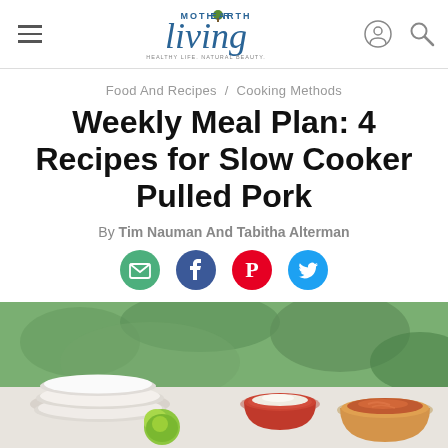Mother Earth Living — Weekly Meal Plan: 4 Recipes for Slow Cooker Pulled Pork
Food And Recipes / Cooking Methods
Weekly Meal Plan: 4 Recipes for Slow Cooker Pulled Pork
By Tim Nauman And Tabitha Alterman
[Figure (illustration): Social sharing icons: email (green circle), Facebook (blue circle), Pinterest (red circle), Twitter (blue circle)]
[Figure (photo): Hero food photo showing stacked white plates, a lime, a red bowl with white topping, and an orange bowl with pulled pork filling, against a green leafy background]